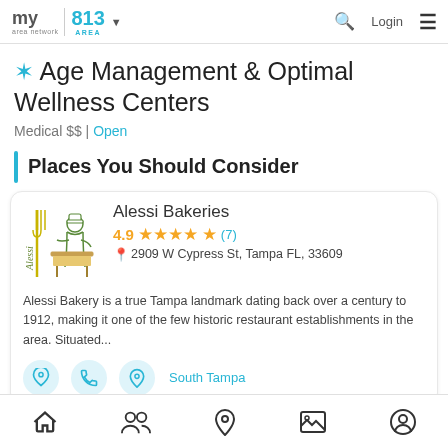my area network | 813 AREA | Login
Age Management & Optimal Wellness Centers
Medical $$ | Open
Places You Should Consider
Alessi Bakeries
4.9 ★★★★★ (7)
2909 W Cypress St, Tampa FL, 33609
Alessi Bakery is a true Tampa landmark dating back over a century to 1912, making it one of the few historic restaurant establishments in the area. Situated...
South Tampa
Home | People | Location | Gallery | Profile